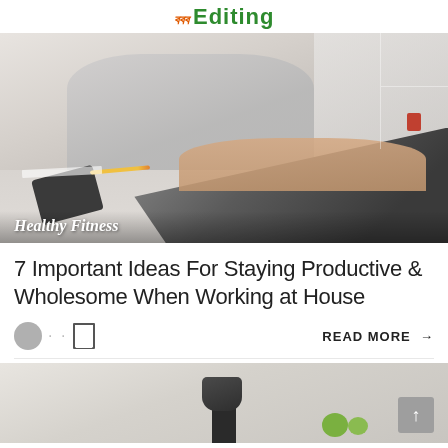ববব Editing
[Figure (photo): Woman working at a laptop on a white desk, with a smartphone nearby. Category label 'Healthy Fitness' overlaid on the bottom left.]
Healthy Fitness
7 Important Ideas For Staying Productive & Wholesome When Working at House
READ MORE →
[Figure (photo): Partial view of a kitchen blender with green food items on a light background.]